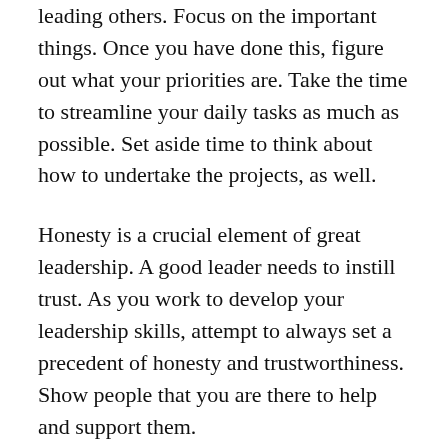leading others. Focus on the important things. Once you have done this, figure out what your priorities are. Take the time to streamline your daily tasks as much as possible. Set aside time to think about how to undertake the projects, as well.
Honesty is a crucial element of great leadership. A good leader needs to instill trust. As you work to develop your leadership skills, attempt to always set a precedent of honesty and trustworthiness. Show people that you are there to help and support them.
Always tell others how much they, and their work, mean to you. It only takes a moment to write a short thank-you or “good job” note, and it can mean a lot to someone who is working hard all day. Even such a small mention of satisfaction can brighten moods